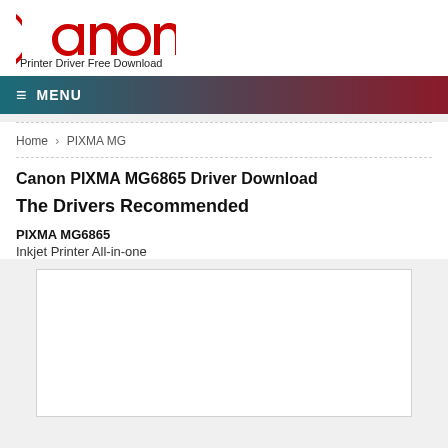[Figure (logo): Canon logo in red with text 'Printer Driver Free Download' below]
≡ MENU
Home › PIXMA MG
Canon PIXMA MG6865 Driver Download
The Drivers Recommended
PIXMA MG6865
Inkjet Printer All-in-one
[Figure (photo): White rectangular image box (empty/placeholder)]